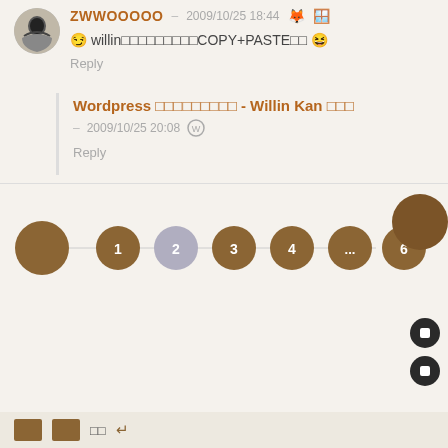ZWWOOOOO – 2009/10/25 18:44
😏 willin□□□□□□□□□COPY+PASTE□□ 😆
Reply
Wordpress □□□□□□□□□ - Willin Kan □□□
– 2009/10/25 20:08
Reply
[Figure (infographic): Pagination bar with numbered circles: large brown left circle (prev), circles 1, 2 (grey/current), 3, 4, ..., 6, large brown right circle (next). Connected by thin lines.]
□□□ □□ →